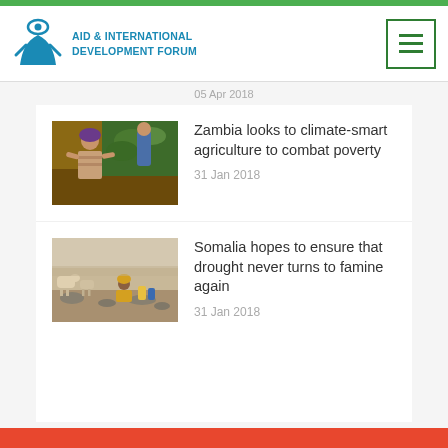[Figure (logo): Aid & International Development Forum logo with eye/person icon in blue]
05 Apr 2018
[Figure (photo): Woman farming in Zambia, climate-smart agriculture]
Zambia looks to climate-smart agriculture to combat poverty
31 Jan 2018
[Figure (photo): Somalia drought scene with animals and people]
Somalia hopes to ensure that drought never turns to famine again
31 Jan 2018